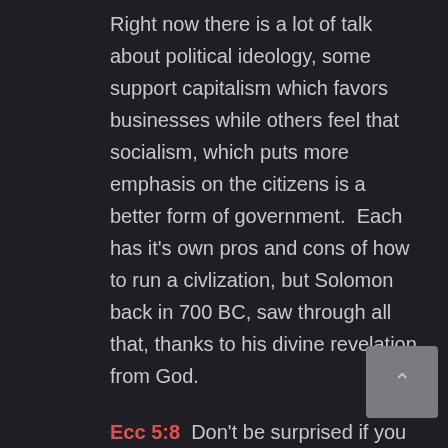Right now there is a lot of talk about political ideology, some support capitalism which favors businesses while others feel that socialism, which puts more emphasis on the citizens is a better form of government.  Each has it's own pros and cons of how to run a civlization, but Solomon back in 700 BC, saw through all that, thanks to his divine revelation from God.
Ecc 5:8  Don't be surprised if you see a poor person being oppressed by the powerful and if justice is being miscarried throughout the land. For every official is under orders from